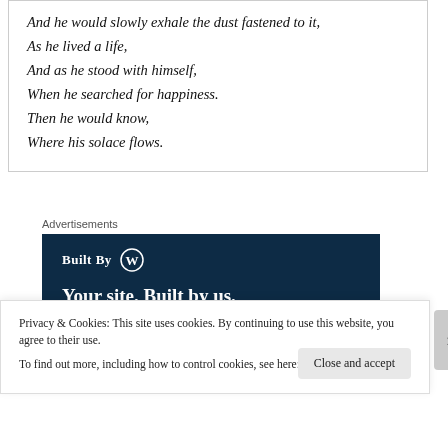And he would slowly exhale the dust fastened to it,
As he lived a life,
And as he stood with himself,
When he searched for happiness.
Then he would know,
Where his solace flows.
Advertisements
[Figure (other): WordPress 'Built By' advertisement banner with dark navy background. Text reads 'Built By [WordPress logo]' and 'Your site. Built by us. Built for you.' with a mockup of a website and a pink background image of a person.]
Privacy & Cookies: This site uses cookies. By continuing to use this website, you agree to their use.
To find out more, including how to control cookies, see here: Cookie Policy